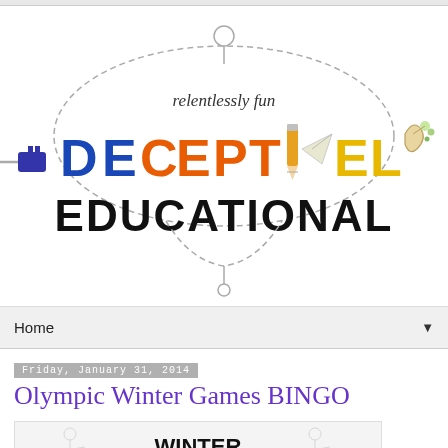[Figure (logo): Deceptively Educational blog logo — dashed oval frame with 'relentlessly fun' text above, colorful lettering spelling DECEPTIVELY EDUCATIONAL with illustrated icons (plug, pencil, paper airplane, slingshot, leaves)]
Home ▼
Friday, January 31, 2014
Olympic Winter Games BINGO
[Figure (illustration): Winter Olympic BINGO card illustration with 'WINTER OLYMPIC' text and athlete figures in the background]